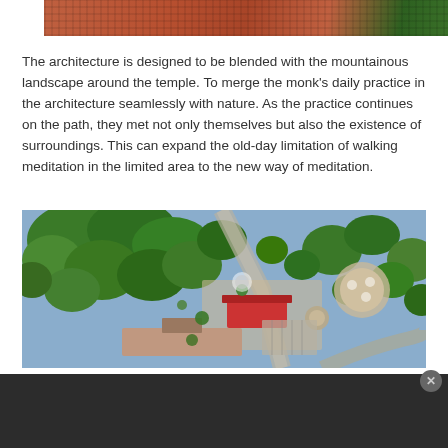[Figure (photo): Top portion of architectural photo showing terracotta brick facade with grid-like pattern, partially cropped at top of page]
The architecture is designed to be blended with the mountainous landscape around the temple. To merge the monk's daily practice in the architecture seamlessly with nature. As the practice continues on the path, they met not only themselves but also the existence of surroundings. This can expand the old-day limitation of walking meditation in the limited area to the new way of meditation.
[Figure (photo): Aerial drone view of a temple complex surrounded by dense green trees, showing red-roofed building, circular pavilion structures, pathways, parking area, and landscaped grounds]
[Figure (screenshot): Dark overlay bar at bottom of page with a circular close (x) button in the top-right corner, suggesting a video or media player UI overlay]